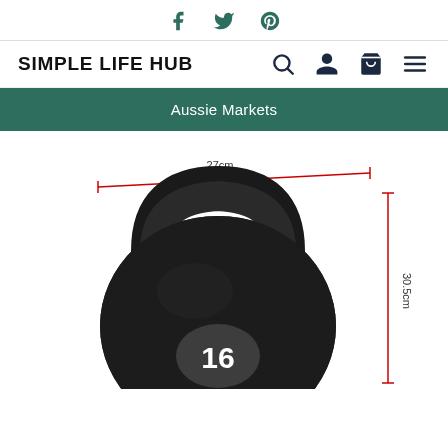Social share icons: Facebook, Twitter, Pinterest
SIMPLE LIFE HUB — navigation with search, account, cart, menu icons
Aussie Markets
[Figure (photo): Black 16kg kettlebell with dimension annotations: 27cm width and 30.5cm height shown with red measurement lines]